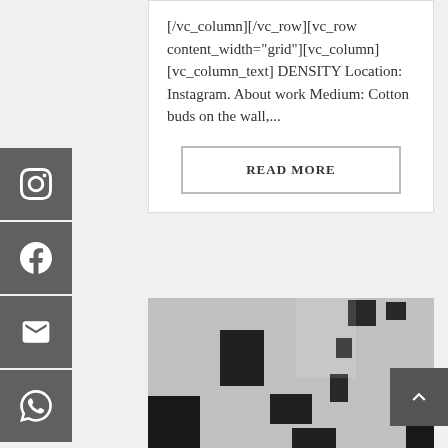[/vc_column][/vc_row][vc_row content_width="grid"][vc_column][vc_column_text] DENSITY Location: Instagram. About work Medium: Cotton buds on the wall,...
READ MORE
[Figure (photo): Black and white photo of dark rectangular shapes (cotton buds or pads) mounted on a white wall, creating an installation art piece with various sized dark squares scattered around the wall surface.]